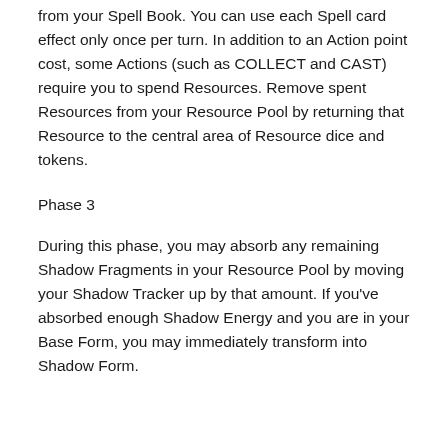…and spend Resources to use a Spell card effect from your Spell Book. You can use each Spell card effect only once per turn. In addition to an Action point cost, some Actions (such as COLLECT and CAST) require you to spend Resources. Remove spent Resources from your Resource Pool by returning that Resource to the central area of Resource dice and tokens.
Phase 3
During this phase, you may absorb any remaining Shadow Fragments in your Resource Pool by moving your Shadow Tracker up by that amount. If you've absorbed enough Shadow Energy and you are in your Base Form, you may immediately transform into Shadow Form.